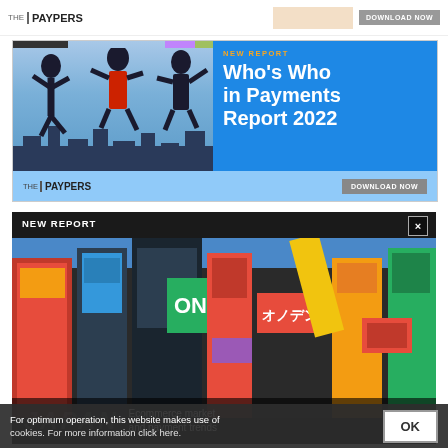[Figure (illustration): Top banner ad for The Paypers with orange accent and DOWNLOAD NOW button]
[Figure (illustration): Who's Who in Payments Report 2022 advertisement. Left side shows three people jumping in a city, right side has blue background with report title and DOWNLOAD NOW button. THE PAYPERS logo at bottom left.]
[Figure (photo): Japan ecommerce market and payment trends report advertisement. Shows a colorful Tokyo/Akihabara street scene with neon signs and billboards. NEW REPORT label at top. Close button (X) at top right. JAPAN text overlay at bottom with subtitle 'Ecommerce market and payment trends'.]
For optimum operation, this website makes use of cookies. For more information click here.
OK